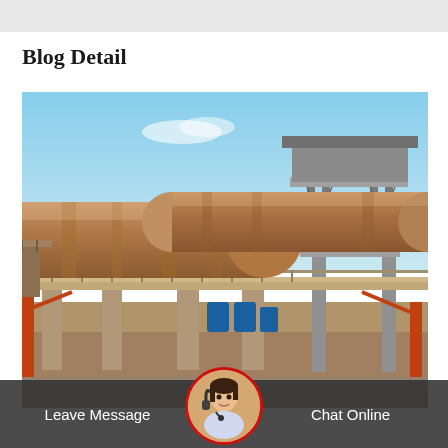Blog Detail
[Figure (photo): Industrial cement plant with large rotary kilns (cylindrical drums) in the foreground, elevated walkways and structural supports, and a multi-story industrial tower structure in the background against a blue sky.]
Leave Message
Chat Online